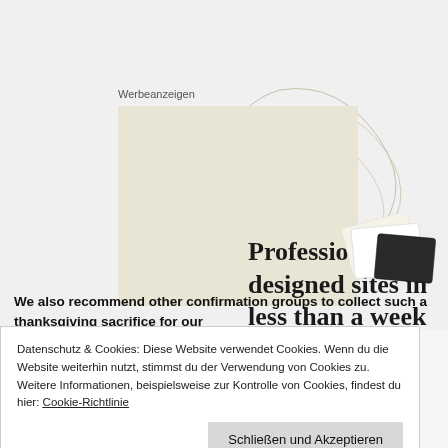Werbeanzeigen
[Figure (illustration): Advertisement banner with beige background showing text 'Professionally designed sites in less than a week' in large serif font, with decorative card/document illustrations in the background]
We also recommend other confirmation groups to collect such a thanksgiving sacrifice for our
Datenschutz & Cookies: Diese Website verwendet Cookies. Wenn du die Website weiterhin nutzt, stimmst du der Verwendung von Cookies zu. Weitere Informationen, beispielsweise zur Kontrolle von Cookies, findest du hier: Cookie-Richtlinie
Schließen und Akzeptieren
Teilen/Share: